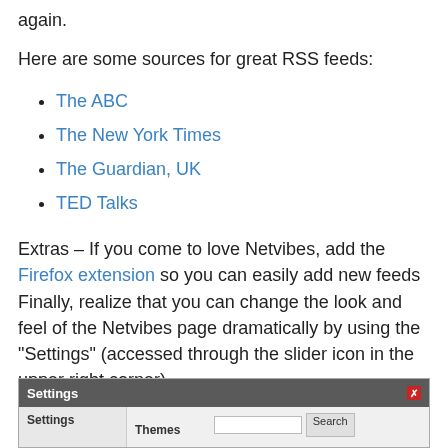again.
Here are some sources for great RSS feeds:
The ABC
The New York Times
The Guardian, UK
TED Talks
Extras – If you come to love Netvibes, add the Firefox extension so you can easily add new feeds Finally, realize that you can change the look and feel of the Netvibes page dramatically by using the “Settings” (accessed through the slider icon in the upper right corner).
[Figure (screenshot): Screenshot of the Netvibes Settings dialog box showing a dark grey title bar with 'Settings' text and a red close button, and below it a sidebar with 'Settings' label and a main area with 'Themes' label and a search bar with Search button.]